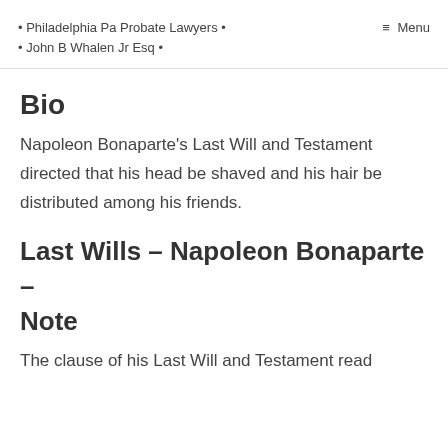• Philadelphia Pa Probate Lawyers •
• John B Whalen Jr Esq •
≡ Menu
Bio
Napoleon Bonaparte's Last Will and Testament directed that his head be shaved and his hair be distributed among his friends.
Last Wills – Napoleon Bonaparte – Note
The clause of his Last Will and Testament read